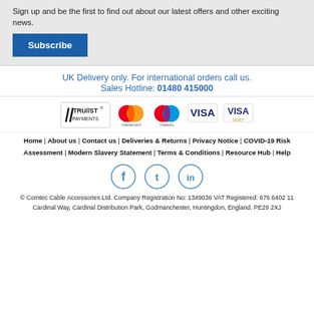Sign up and be the first to find out about our latest offers and other exciting news.
Subscribe
UK Delivery only. For international orders call us.
Sales Hotline: 01480 415000
[Figure (logo): Payment provider logos: Trust Payments, Mastercard, Maestro, Visa, Visa Debit]
Home | About us | Contact us | Deliveries & Returns | Privacy Notice | COVID-19 Risk Assessment | Modern Slavery Statement | Terms & Conditions | Resource Hub | Help
[Figure (illustration): Social media icons: Facebook, Twitter, LinkedIn]
© Comtec Cable Accessories Ltd. Company Registration No: 1349036 VAT Registered: 676 6402 11
Cardinal Way, Cardinal Distribution Park, Godmanchester, Huntingdon, England. PE29 2XJ